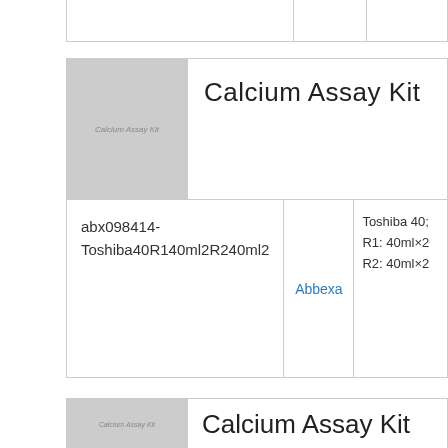|  |  |  |
[Figure (photo): Calcium Assay Kit product image placeholder (gray box)]
Calcium Assay Kit
| Product ID | Brand | Specs |  |
| --- | --- | --- | --- |
| abx098414-Toshiba40R140ml2R240ml2 | Abbexa | Toshiba 40; R1: 40ml×2 R2: 40ml×2 |  |
[Figure (photo): Calcium Assay Kit product image placeholder (gray box) - second entry]
Calcium Assay Kit